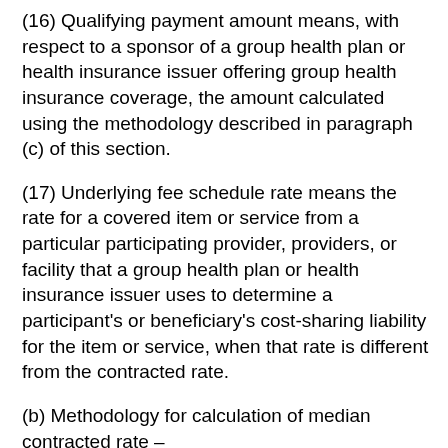(16) Qualifying payment amount means, with respect to a sponsor of a group health plan or health insurance issuer offering group health insurance coverage, the amount calculated using the methodology described in paragraph (c) of this section.
(17) Underlying fee schedule rate means the rate for a covered item or service from a particular participating provider, providers, or facility that a group health plan or health insurance issuer uses to determine a participant's or beneficiary's cost-sharing liability for the item or service, when that rate is different from the contracted rate.
(b) Methodology for calculation of median contracted rate –
(1) In general. The median contracted rate for an